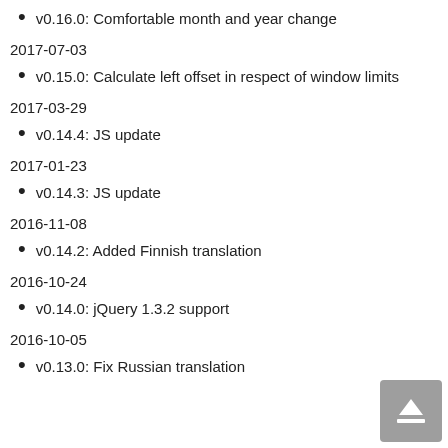v0.16.0: Comfortable month and year change
2017-07-03
v0.15.0: Calculate left offset in respect of window limits
2017-03-29
v0.14.4: JS update
2017-01-23
v0.14.3: JS update
2016-11-08
v0.14.2: Added Finnish translation
2016-10-24
v0.14.0: jQuery 1.3.2 support
2016-10-05
v0.13.0: Fix Russian translation